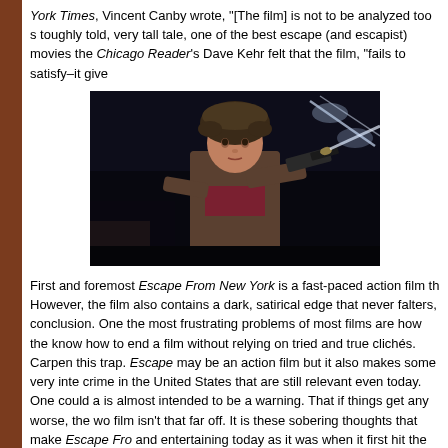York Times, Vincent Canby wrote, "[The film] is not to be analyzed too s... toughly told, very tall tale, one of the best escape (and escapist) movies... the Chicago Reader's Dave Kehr felt that the film, "fails to satisfy–it give...
[Figure (photo): A woman in a fur hat holding a gun, pointing it forward, in a dark nighttime action scene from the film Escape From New York.]
First and foremost Escape From New York is a fast-paced action film th... However, the film also contains a dark, satirical edge that never falters, ... conclusion. One the most frustrating problems of most films are how the... know how to end a film without relying on tried and true clichés. Carpen... this trap. Escape may be an action film but it also makes some very inte... crime in the United States that are still relevant even today. One could a... is almost intended to be a warning. That if things get any worse, the wo... film isn't that far off. It is these sobering thoughts that make Escape Fro... and entertaining today as it was when it first hit the screens in 1981.